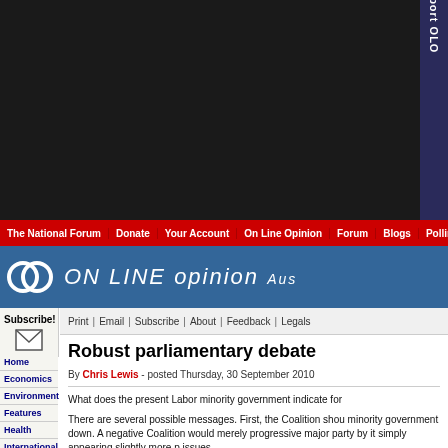[Figure (screenshot): Dark banner advertisement area at top of webpage]
The National Forum | Donate | Your Account | On Line Opinion | Forum | Blogs | Polling
[Figure (logo): ON LINE opinion Australia - website logo with interlocking circles]
Print | Email | Subscribe | About | Feedback | Legals
Subscribe!
Home
Economics
Environment
Features
Health
International
Leisure
People
Politics
Technology
Robust parliamentary debate
By Chris Lewis - posted Thursday, 30 September 2010
What does the present Labor minority government indicate for
There are several possible messages. First, the Coalition shou minority government down. A negative Coalition would merely progressive major party by it simply appearing slightly more p issues.
Second, Labor and the Coalition should pay more attention to parliament. For example, with many voters rejecting the curre